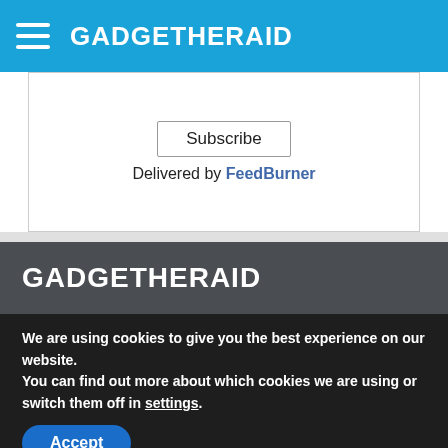GADGETHERAID
Subscribe
Delivered by FeedBurner
GADGETHERAID
Gadget Herald - At Gadget Herald get the best in electronic gadgets from reviews to the launch of the latest Gadgets from all corporations and...
We are using cookies to give you the best experience on our website.
You can find out more about which cookies we are using or switch them off in settings.
Accept